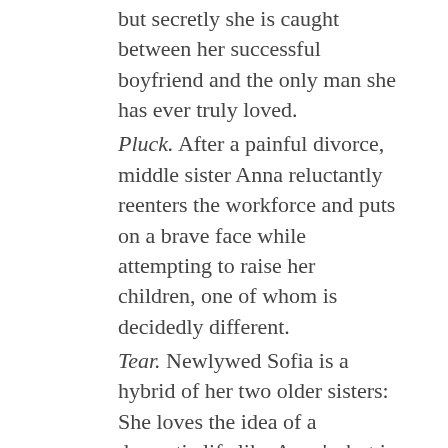but secretly she is caught between her successful boyfriend and the only man she has ever truly loved.
Pluck. After a painful divorce, middle sister Anna reluctantly reenters the workforce and puts on a brave face while attempting to raise her children, one of whom is decidedly different.
Tear. Newlywed Sofia is a hybrid of her two older sisters: She loves the idea of a domestic life like Anna's, but is entranced by New York nightlife and a new best friend, resulting in some major complications at home.
Amid the sticky confines of a perfectly manicured world, these three sisters search for love of the kind that matters more for...